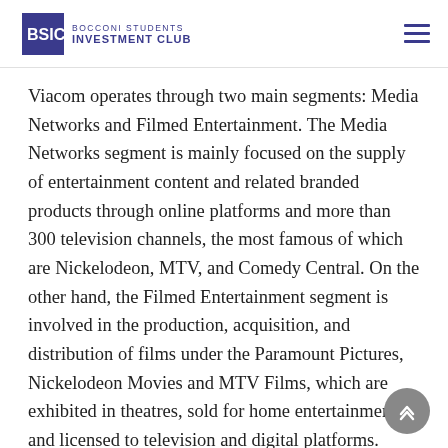BOCCONI STUDENTS INVESTMENT CLUB
Viacom operates through two main segments: Media Networks and Filmed Entertainment. The Media Networks segment is mainly focused on the supply of entertainment content and related branded products through online platforms and more than 300 television channels, the most famous of which are Nickelodeon, MTV, and Comedy Central. On the other hand, the Filmed Entertainment segment is involved in the production, acquisition, and distribution of films under the Paramount Pictures, Nickelodeon Movies and MTV Films, which are exhibited in theatres, sold for home entertainment, and licensed to television and digital platforms.